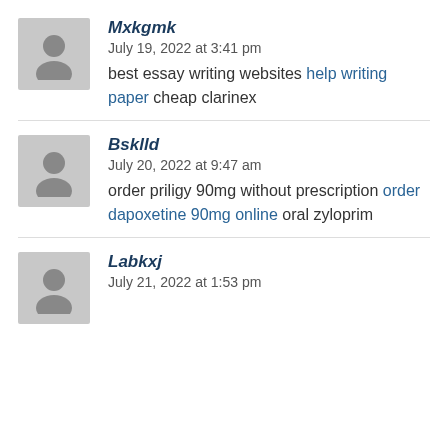Mxkgmk
July 19, 2022 at 3:41 pm
best essay writing websites help writing paper cheap clarinex
Bsklld
July 20, 2022 at 9:47 am
order priligy 90mg without prescription order dapoxetine 90mg online oral zyloprim
Labkxj
July 21, 2022 at 1:53 pm